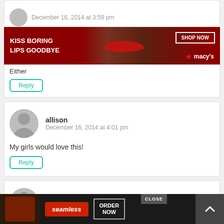December 16, 2014 at 3:59 pm
[Figure (photo): Macy's advertisement banner: 'KISS BORING LIPS GOODBYE' with woman wearing red lipstick, SHOP NOW button and Macy's star logo]
Either
Reply
allison
December 16, 2014 at 4:01 pm
My girls would love this!
Reply
Kate
December 16, 2014 at 4:02 pm
My d
[Figure (photo): Seamless food delivery advertisement with pizza image, Seamless logo, ORDER NOW button, CLOSE button, and scroll-up arrow]
CLOSE